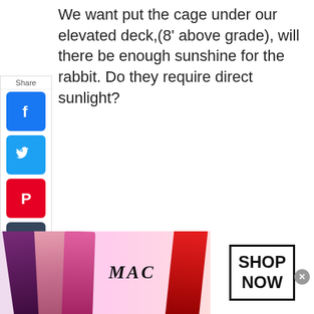We want put the cage under our elevated deck,(8' above grade), will there be enough sunshine for the rabbit. Do they require direct sunlight?
[Figure (infographic): Social media share sidebar with Facebook, Twitter, Pinterest, Tumblr, Reddit, WhatsApp, and Messenger buttons]
[Figure (infographic): MAC cosmetics advertisement banner showing lipsticks and a SHOP NOW button]